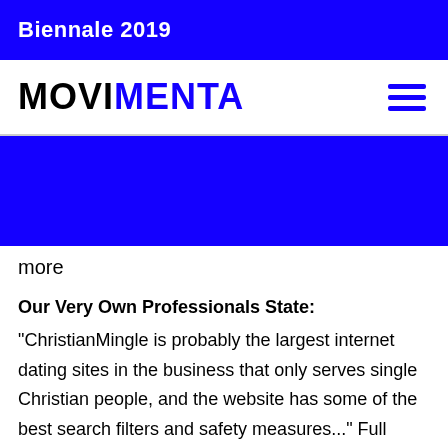Biennale 2019
MOVIMENTA
more
Our Very Own Professionals State:
"ChristianMingle is probably the largest internet dating sites in the business that only serves single Christian people, and the website has some of the best search filters and safety measures..." Full Evaluation »